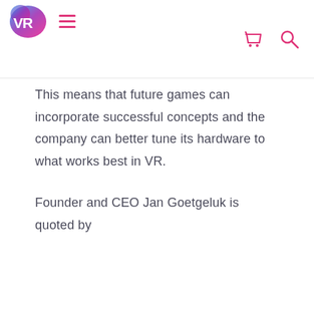VR logo, hamburger menu, cart icon, search icon
This means that future games can incorporate successful concepts and the company can better tune its hardware to what works best in VR.
Founder and CEO Jan Goetgeluk is quoted by